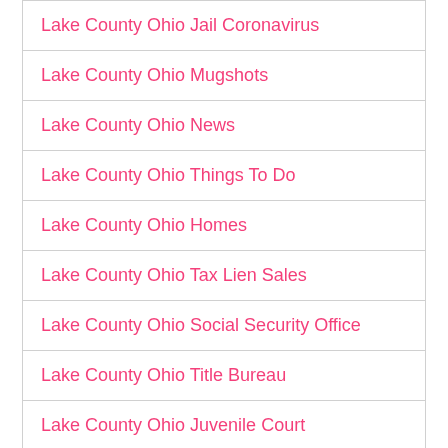Lake County Ohio Jail Coronavirus
Lake County Ohio Mugshots
Lake County Ohio News
Lake County Ohio Things To Do
Lake County Ohio Homes
Lake County Ohio Tax Lien Sales
Lake County Ohio Social Security Office
Lake County Ohio Title Bureau
Lake County Ohio Juvenile Court
Lake County Ohio Municipal Court Records
Lake County Ohio Population 2019